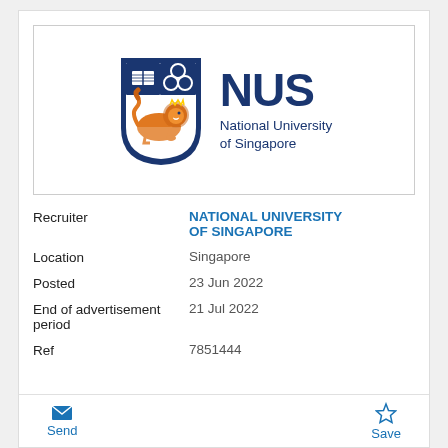[Figure (logo): NUS National University of Singapore logo with shield crest featuring a lion, book, and trefoil, alongside the text NUS and National University of Singapore]
| Recruiter | NATIONAL UNIVERSITY OF SINGAPORE |
| Location | Singapore |
| Posted | 23 Jun 2022 |
| End of advertisement period | 21 Jul 2022 |
| Ref | 7851444 |
Send  Save